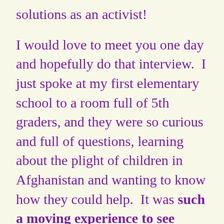solutions as an activist!
I would love to meet you one day and hopefully do that interview.  I just spoke at my first elementary school to a room full of 5th graders, and they were so curious and full of questions, learning about the plight of children in Afghanistan and wanting to know how they could help.  It was such a moving experience to see children wanting to make the world better, with such open-hearted love.  🙂